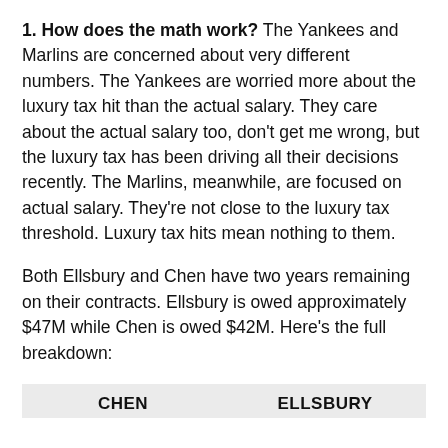1. How does the math work? The Yankees and Marlins are concerned about very different numbers. The Yankees are worried more about the luxury tax hit than the actual salary. They care about the actual salary too, don't get me wrong, but the luxury tax has been driving all their decisions recently. The Marlins, meanwhile, are focused on actual salary. They're not close to the luxury tax threshold. Luxury tax hits mean nothing to them.
Both Ellsbury and Chen have two years remaining on their contracts. Ellsbury is owed approximately $47M while Chen is owed $42M. Here's the full breakdown:
| CHEN | ELLSBURY |
| --- | --- |